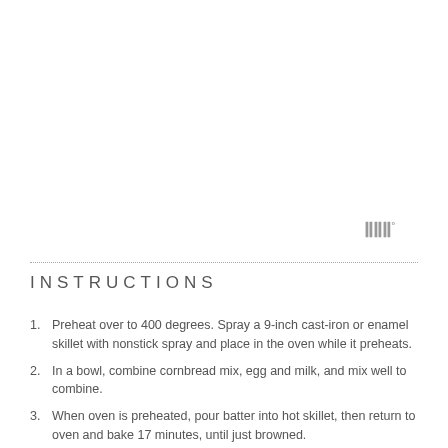[Figure (logo): Logo consisting of three vertical bar shapes with a degree symbol, rendered in gray]
INSTRUCTIONS
Preheat over to 400 degrees. Spray a 9-inch cast-iron or enamel skillet with nonstick spray and place in the oven while it preheats.
In a bowl, combine cornbread mix, egg and milk, and mix well to combine.
When oven is preheated, pour batter into hot skillet, then return to oven and bake 17 minutes, until just browned.
Meanwhile, heat olive oil in a large skillet over medium-high heat. Add onion, pepper and garlic, and saute until softened, about 6 minutes. Add shredded chicken and BBQ sauce to the skillet and mix well to evenly coat chicken and veggies. Cook 2